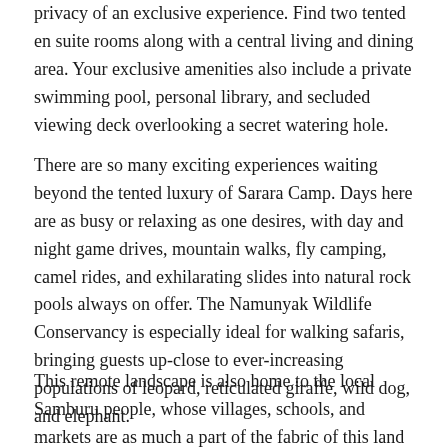privacy of an exclusive experience. Find two tented en suite rooms along with a central living and dining area. Your exclusive amenities also include a private swimming pool, personal library, and secluded viewing deck overlooking a secret watering hole.
There are so many exciting experiences waiting beyond the tented luxury of Sarara Camp. Days here are as busy or relaxing as one desires, with day and night game drives, mountain walks, fly camping, camel rides, and exhilarating slides into natural rock pools always on offer. The Namunyak Wildlife Conservancy is especially ideal for walking safaris, bringing guests up-close to ever-increasing populations of leopard, reticulated giraffe, wild dog, and elephant.
This remote landscape is also home to the local Samburu people, whose villages, schools, and markets are as much a part of the fabric of this land as the wildlife. The highlight of any stay is